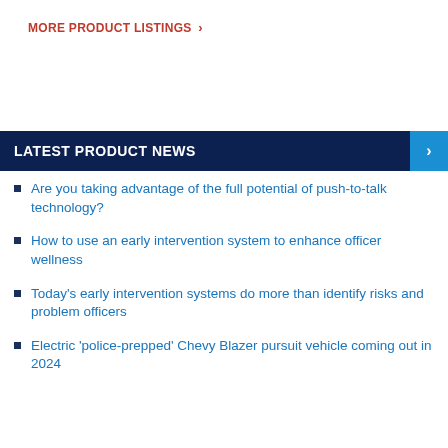MORE PRODUCT LISTINGS >
LATEST PRODUCT NEWS
Are you taking advantage of the full potential of push-to-talk technology?
How to use an early intervention system to enhance officer wellness
Today's early intervention systems do more than identify risks and problem officers
Electric 'police-prepped' Chevy Blazer pursuit vehicle coming out in 2024